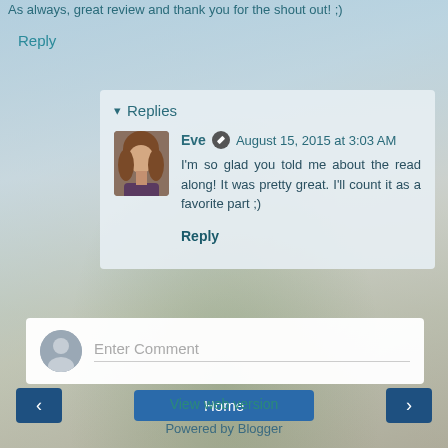As always, great review and thank you for the shout out! ;)
Reply
Replies
Eve  August 15, 2015 at 3:03 AM
I'm so glad you told me about the read along! It was pretty great. I'll count it as a favorite part ;)
Reply
Enter Comment
Home
View web version
Powered by Blogger